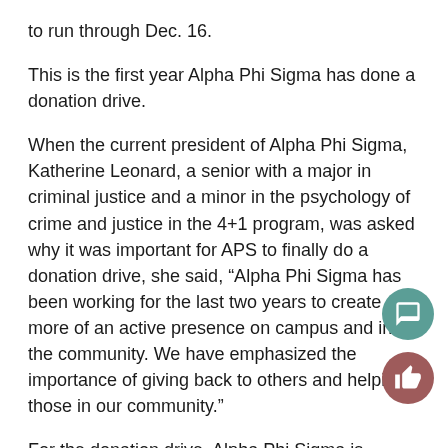to run through Dec. 16.
This is the first year Alpha Phi Sigma has done a donation drive.
When the current president of Alpha Phi Sigma, Katherine Leonard, a senior with a major in criminal justice and a minor in the psychology of crime and justice in the 4+1 program, was asked why it was important for APS to finally do a donation drive, she said, “Alpha Phi Sigma has been working for the last two years to create more of an active presence on campus and in the community. We have emphasized the importance of giving back to others and helping those in our community.”
For the donation drive, Alpha Phi Sigma is partnering with the Erie City Mission.